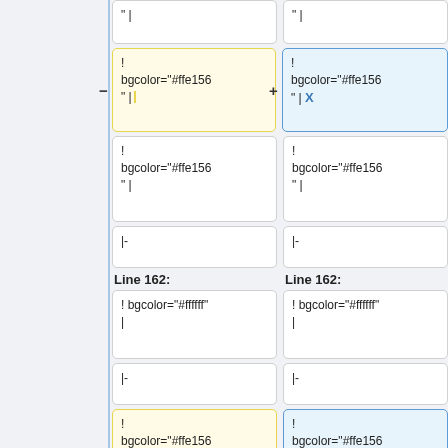" |
! bgcolor="#ffe156" |
! bgcolor="#ffe156" | X
! bgcolor="#ffe156" |
|-
Line 162:
Line 162:
! bgcolor="#ffffff" |
|-
! bgcolor="#ffe156" | [http://www.splra.org/wiki/index.php?title=Tsp1992-